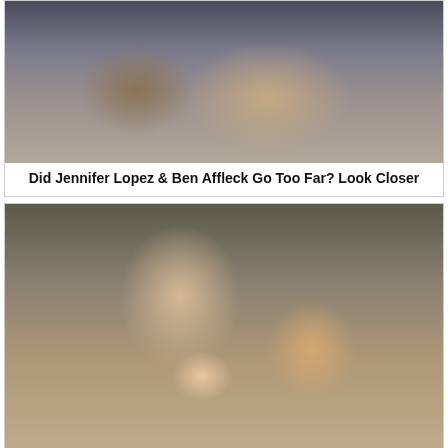[Figure (photo): Photo of two people on a bed, associated with Jennifer Lopez and Ben Affleck clickbait article]
Did Jennifer Lopez & Ben Affleck Go Too Far? Look Closer
[Figure (photo): Photo of a young man in a cap holding a newborn baby, with a blonde woman beside him]
Smith's 14-Year-Old Daughter Is The Spitting Image Of The Mother
[Figure (photo): Partial photo with blue/purple background, partially visible at bottom of page]